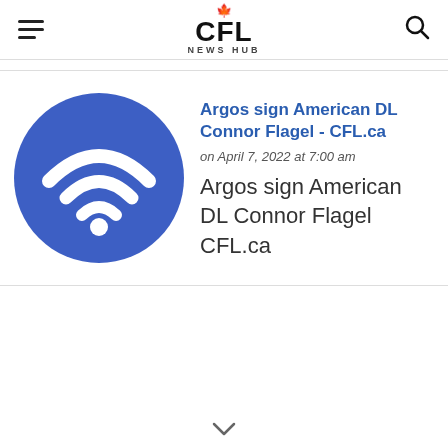CFL NEWS HUB
[Figure (illustration): Blue circle with white WiFi signal icon (placeholder for article thumbnail)]
Argos sign American DL Connor Flagel - CFL.ca
on April 7, 2022 at 7:00 am
Argos sign American DL Connor Flagel  CFL.ca